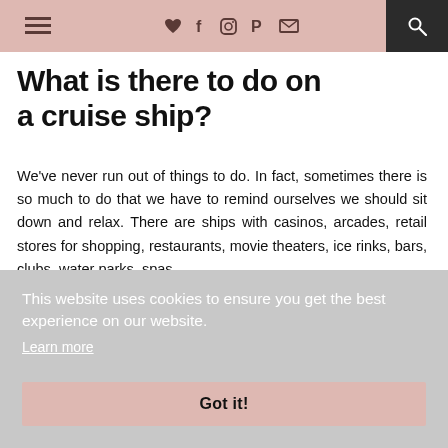≡ ♥ f ⊙ P ✉ 🔍
What is there to do on a cruise ship?
We've never run out of things to do. In fact, sometimes there is so much to do that we have to remind ourselves we should sit down and relax. There are ships with casinos, arcades, retail stores for shopping, restaurants, movie theaters, ice rinks, bars, clubs, water parks, spas
This website uses cookies to ensure you get the best experience on our website. Learn more
Got it!